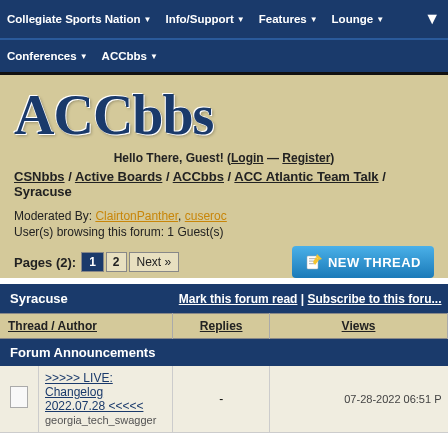Collegiate Sports Nation ▼  Info/Support ▼  Features ▼  Lounge ▼
Conferences ▼  ACCbbs ▼
ACCbbs
Hello There, Guest! (Login — Register)
CSNbbs / Active Boards / ACCbbs / ACC Atlantic Team Talk / Syracuse
Moderated By: ClairtonPanther, cuseroc
User(s) browsing this forum: 1 Guest(s)
Pages (2): 1  2  Next »
| Thread / Author | Replies | Views | Last Post [desc] |
| --- | --- | --- | --- |
| Forum Announcements |  |  |  |
| >>>>> LIVE: Changelog 2022.07.28 <<<<< georgia_tech_swagger | - | - | 07-28-2022 06:51 P |